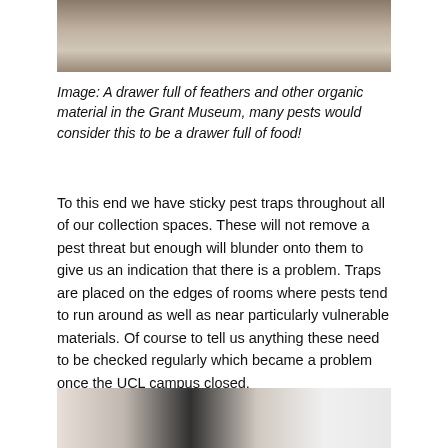[Figure (photo): Top portion of a photo showing a drawer full of feathers and other organic material in plastic bags at the Grant Museum]
Image: A drawer full of feathers and other organic material in the Grant Museum, many pests would consider this to be a drawer full of food!
To this end we have sticky pest traps throughout all of our collection spaces. These will not remove a pest threat but enough will blunder onto them to give us an indication that there is a problem. Traps are placed on the edges of rooms where pests tend to run around as well as near particularly vulnerable materials. Of course to tell us anything these need to be checked regularly which became a problem once the UCL campus closed.
[Figure (photo): Bottom portion of a photo showing sticky pest traps or collection items at the Grant Museum]